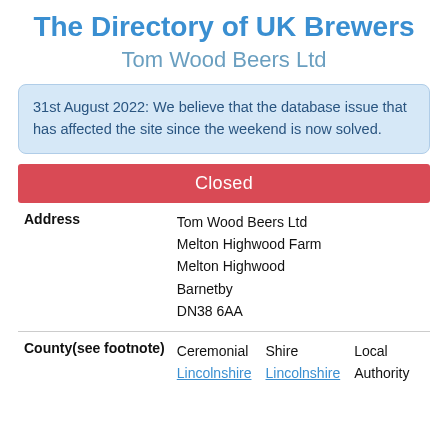The Directory of UK Brewers
Tom Wood Beers Ltd
31st August 2022: We believe that the database issue that has affected the site since the weekend is now solved.
Closed
| Field | Value |
| --- | --- |
| Address | Tom Wood Beers Ltd
Melton Highwood Farm
Melton Highwood
Barnetby
DN38 6AA |
| County(see footnote) | Ceremonial Lincolnshire | Shire Lincolnshire | Local Authority |